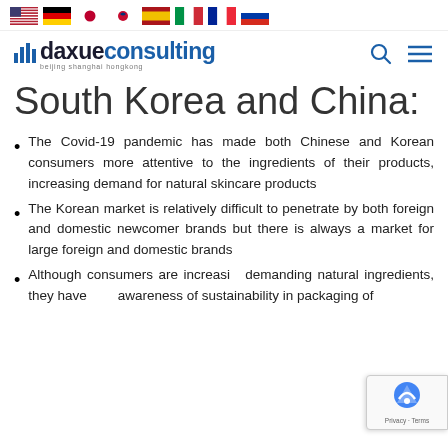Flag icons: US, Germany, Japan, South Korea, Spain, Italy, France, Russia
[Figure (logo): Daxue Consulting logo with bar chart icon, subtitle: beijing shanghai hongkong]
South Korea and China:
The Covid-19 pandemic has made both Chinese and Korean consumers more attentive to the ingredients of their products, increasing demand for natural skincare products
The Korean market is relatively difficult to penetrate by both foreign and domestic newcomer brands but there is always a market for large foreign and domestic brands
Although consumers are increasingly demanding natural ingredients, they have awareness of sustainability in packaging of